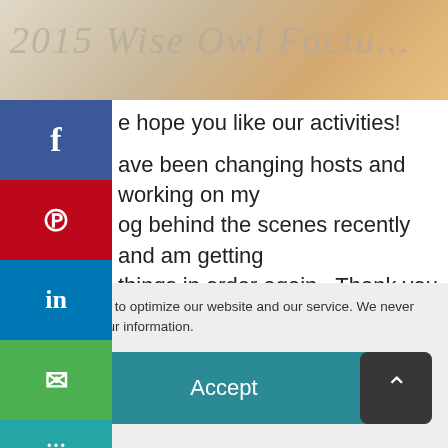[Figure (photo): Top portion of a photo showing handwritten text '2015 Wise Owl Factory' on paper with craft materials]
We hope you like our activities!
I have been changing hosts and working on my blog behind the scenes recently and am getting things in order again.  Thank you for your patience!
Thank you for reading,
Carolyn
We use cookies to optimize our website and our service. We never share or sell your information.
Accept